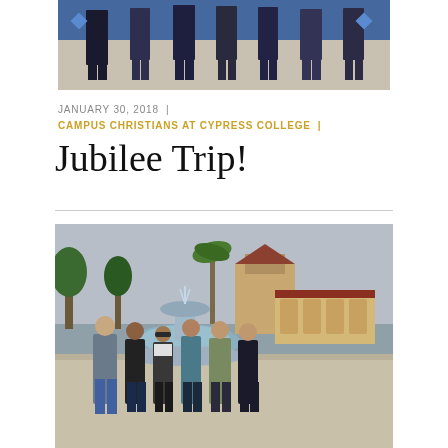[Figure (photo): Group of students standing in front of a blue tiled wall, lower bodies only visible]
JANUARY 30, 2018  |
CAMPUS CHRISTIANS AT CYPRESS COLLEGE  |
Jubilee Trip!
[Figure (photo): Group of six young adults posing in front of a fountain and Spanish-style building on an overcast day]